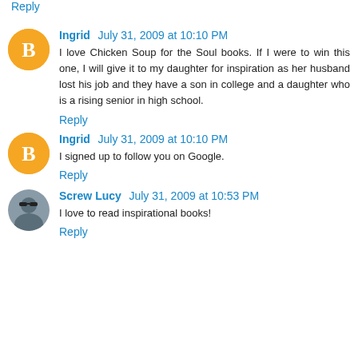Reply
Ingrid  July 31, 2009 at 10:10 PM
I love Chicken Soup for the Soul books. If I were to win this one, I will give it to my daughter for inspiration as her husband lost his job and they have a son in college and a daughter who is a rising senior in high school.
Reply
Ingrid  July 31, 2009 at 10:10 PM
I signed up to follow you on Google.
Reply
Screw Lucy  July 31, 2009 at 10:53 PM
I love to read inspirational books!
Reply